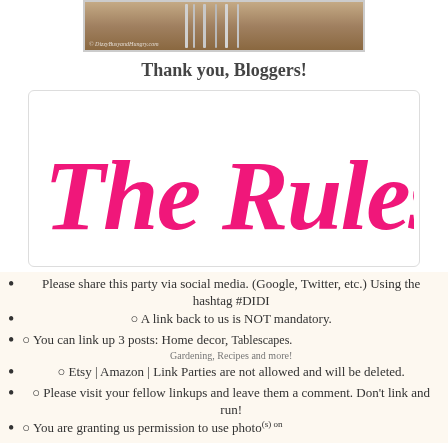[Figure (photo): Photo of what appears to be cutlery/utensils on a wooden surface with watermark '© DizzyBusyandHungry.com']
Thank you, Bloggers!
[Figure (illustration): Decorative cursive text 'The Rules' in pink/magenta on white background with border]
Please share this party via social media. (Google, Twitter, etc.) Using the hashtag #DIDI
○ A link back to us is NOT mandatory.
○ You can link up 3 posts: Home decor, Tablescapes. Gardening, Recipes and more!
○ Etsy | Amazon | Link Parties are not allowed and will be deleted.
○ Please visit your fellow linkups and leave them a comment. Don't link and run!
○ You are granting us permission to use photo(s) on